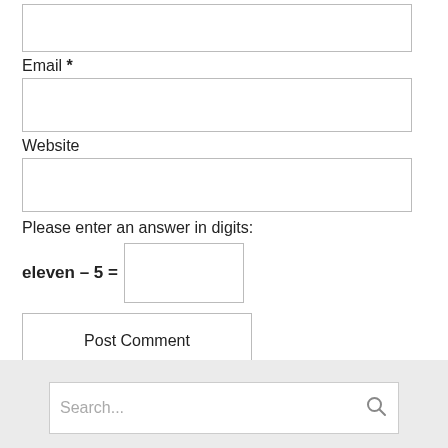[Figure (screenshot): A text input field (empty, white background, bordered)]
Email *
[Figure (screenshot): An email input field (empty, white background, bordered)]
Website
[Figure (screenshot): A website input field (empty, white background, bordered)]
Please enter an answer in digits:
eleven – 5 =
[Figure (screenshot): A small input field for the math answer]
[Figure (screenshot): Post Comment button]
[Figure (screenshot): Search bar with placeholder text 'Search...' and a search icon]